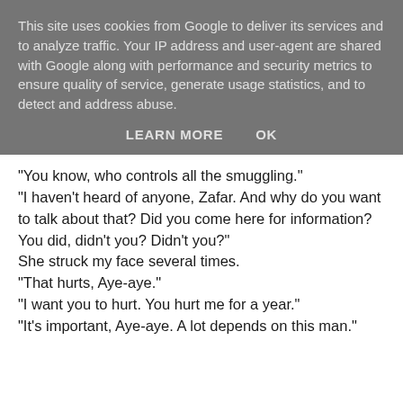This site uses cookies from Google to deliver its services and to analyze traffic. Your IP address and user-agent are shared with Google along with performance and security metrics to ensure quality of service, generate usage statistics, and to detect and address abuse.
LEARN MORE    OK
"You know, who controls all the smuggling."
"I haven't heard of anyone, Zafar. And why do you want to talk about that? Did you come here for information? You did, didn't you? Didn't you?"
She struck my face several times.
"That hurts, Aye-aye."
"I want you to hurt. You hurt me for a year."
"It's important, Aye-aye. A lot depends on this man."